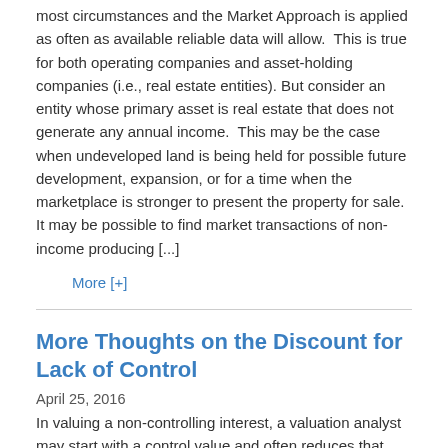most circumstances and the Market Approach is applied as often as available reliable data will allow.  This is true for both operating companies and asset-holding companies (i.e., real estate entities). But consider an entity whose primary asset is real estate that does not generate any annual income.  This may be the case when undeveloped land is being held for possible future development, expansion, or for a time when the marketplace is stronger to present the property for sale. It may be possible to find market transactions of non-income producing [...]
More [+]
More Thoughts on the Discount for Lack of Control
April 25, 2016
In valuing a non-controlling interest, a valuation analyst may start with a control value and often reduces that amount by an estimate for the discount for lack of control. Yet, such a discount is not necessarily applicable in all valuations of non-controlling interests. All valuation discounts must be based on the facts and